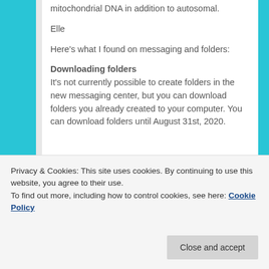mitochondrial DNA in addition to autosomal.
Elle
Here's what I found on messaging and folders:
Downloading folders
It's not currently possible to create folders in the new messaging center, but you can download folders you already created to your computer. You can download folders until August 31st, 2020.
Privacy & Cookies: This site uses cookies. By continuing to use this website, you agree to their use.
To find out more, including how to control cookies, see here: Cookie Policy
Close and accept